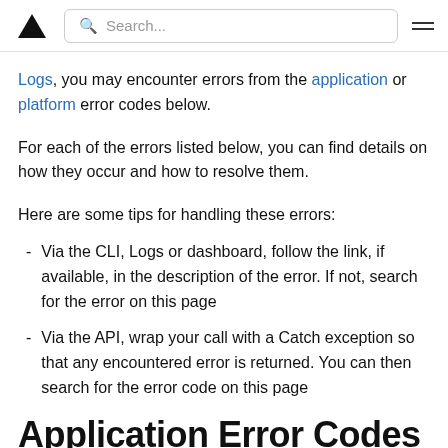Search...
Logs, you may encounter errors from the application or platform error codes below.
For each of the errors listed below, you can find details on how they occur and how to resolve them.
Here are some tips for handling these errors:
Via the CLI, Logs or dashboard, follow the link, if available, in the description of the error. If not, search for the error on this page
Via the API, wrap your call with a Catch exception so that any encountered error is returned. You can then search for the error code on this page
Application Error Codes